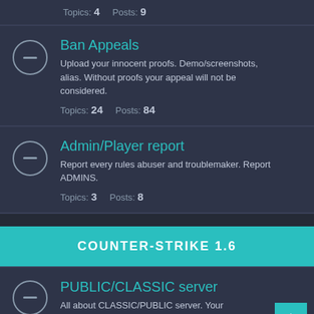Topics: 4    Posts: 9
Ban Appeals
Upload your innocent proofs. Demo/screenshots, alias. Without proofs your appeal will not be considered.
Topics: 24    Posts: 84
Admin/Player report
Report every rules abuser and troublemaker. Report ADMINS.
Topics: 3    Posts: 8
COUNTER-STRIKE 1.6
PUBLIC/CLASSIC server
All about CLASSIC/PUBLIC server. Your complaints, notices, suggestions...